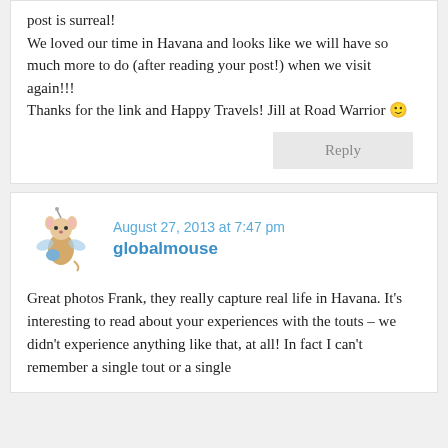post is surreal!
We loved our time in Havana and looks like we will have so much more to do (after reading your post!) when we visit again!!!
Thanks for the link and Happy Travels! Jill at Road Warrior 🙂
Reply
August 27, 2013 at 7:47 pm
globalmouse
Great photos Frank, they really capture real life in Havana. It's interesting to read about your experiences with the touts – we didn't experience anything like that, at all! In fact I can't remember a single tout or a single